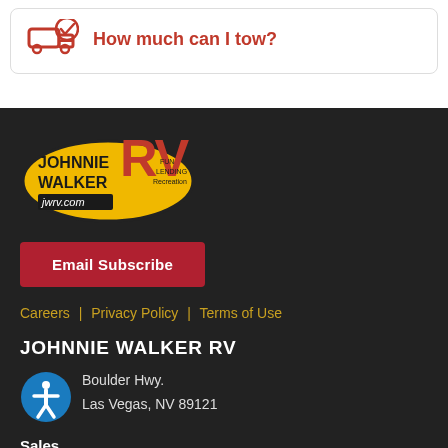How much can I tow?
[Figure (logo): Johnnie Walker RV logo - yellow oval with red RV lettering and jwrv.com text]
Email Subscribe
Careers | Privacy Policy | Terms of Use
JOHNNIE WALKER RV
[Figure (illustration): Blue circle accessibility icon with white figure]
Boulder Hwy.
Las Vegas, NV 89121
Sales